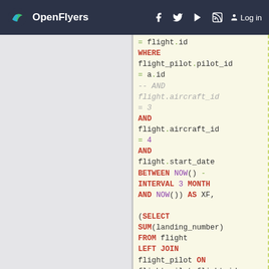OpenFlyers | Log in
[Figure (screenshot): SQL code snippet on light yellow background showing a WHERE clause filtering flight_pilot.pilot_id = a.id with commented AND flight.aircraft_id = 3, then AND flight.aircraft_id = 4, AND flight.start_date BETWEEN NOW() - INTERVAL 3 MONTH AND NOW()) AS XF, followed by (SELECT SUM(landing_number) FROM flight LEFT JOIN flight_pilot ON flight_pilot.flight_id = flight.id WHERE flight_pilot.pilot_id = a.id AND]